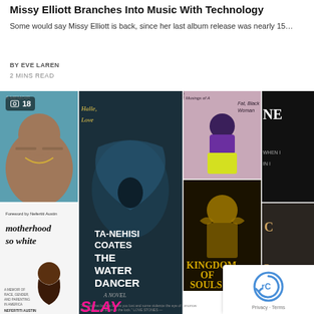Missy Elliott Branches Into Music With Technology
Some would say Missy Elliott is back, since her last album release was nearly 15…
BY EVE LAREN
2 MINS READ
[Figure (photo): Collage of book covers and a music artist photo including Ta-Nehisi Coates The Water Dancer, SLAY, motherhood so white by Nefertiti Austin, Kingdom of Souls, Musings of a Fat Black Woman, and other titles. Badge showing photo icon and count 18. reCAPTCHA overlay at bottom right.]